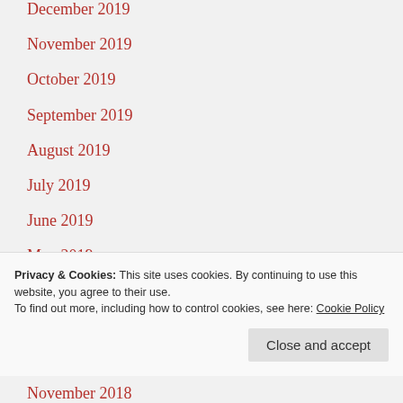December 2019
November 2019
October 2019
September 2019
August 2019
July 2019
June 2019
May 2019
April 2019
March 2019
Privacy & Cookies: This site uses cookies. By continuing to use this website, you agree to their use.
To find out more, including how to control cookies, see here: Cookie Policy
November 2018